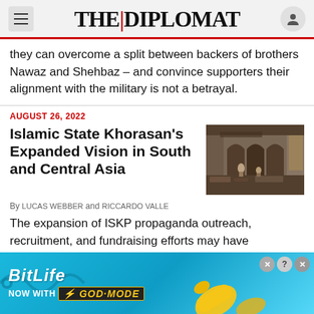THE DIPLOMAT
they can overcome a split between backers of brothers Nawaz and Shehbaz – and convince supporters their alignment with the military is not a betrayal.
AUGUST 26, 2022
Islamic State Khorasan's Expanded Vision in South and Central Asia
By LUCAS WEBBER and RICCARDO VALLE
[Figure (photo): Damaged interior of a building, people among rubble, arched windows visible]
The expansion of ISKP propaganda outreach, recruitment, and fundraising efforts may have significant security implications for countries in the
[Figure (infographic): BitLife advertisement banner - NOW WITH GOD MODE]